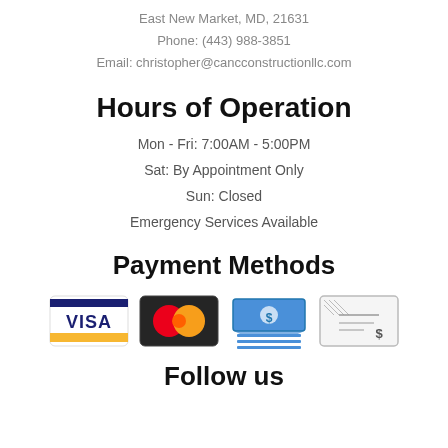East New Market, MD, 21631
Phone: (443) 988-3851
Email: christopher@cancconstructionllc.com
Hours of Operation
Mon - Fri: 7:00AM - 5:00PM
Sat: By Appointment Only
Sun: Closed
Emergency Services Available
Payment Methods
[Figure (illustration): Payment method icons: Visa card, MasterCard, cash/money icon, check icon]
Follow us